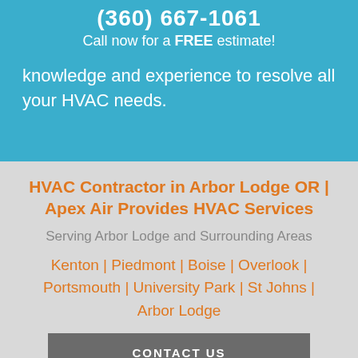(360) 667-1061
Call now for a FREE estimate!
knowledge and experience to resolve all your HVAC needs.
HVAC Contractor in Arbor Lodge OR | Apex Air Provides HVAC Services
Serving Arbor Lodge and Surrounding Areas
Kenton | Piedmont | Boise | Overlook | Portsmouth | University Park | St Johns | Arbor Lodge
CONTACT US
OUR REVIEWS